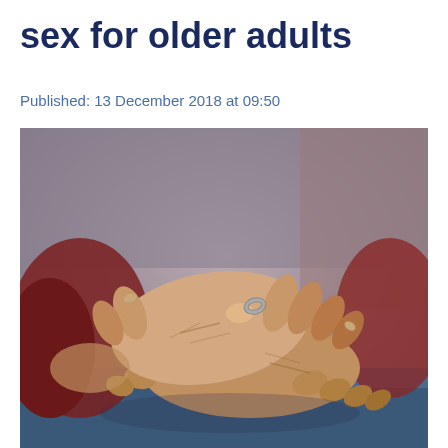sex for older adults
Published: 13 December 2018 at 09:50
[Figure (photo): Close-up photograph of elderly person's wrinkled hands clasped together resting on denim-clad knees, with a silver ring visible on one finger. The person is wearing a dark red/maroon sleeve. Background is blurred grey/purple tones.]